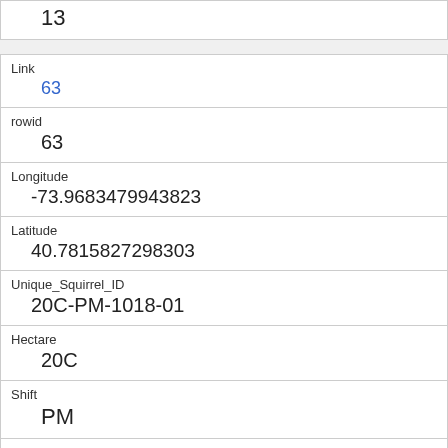|  | 13 |
| Link | 63 |
| rowid | 63 |
| Longitude | -73.9683479943823 |
| Latitude | 40.7815827298303 |
| Unique_Squirrel_ID | 20C-PM-1018-01 |
| Hectare | 20C |
| Shift | PM |
| Date | 1018 |
| Hectare_Squirrel_Number | 1 |
| Age |  |